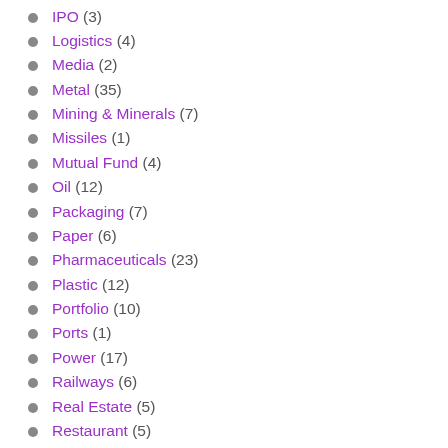IPO (3)
Logistics (4)
Media (2)
Metal (35)
Mining & Minerals (7)
Missiles (1)
Mutual Fund (4)
Oil (12)
Packaging (7)
Paper (6)
Pharmaceuticals (23)
Plastic (12)
Portfolio (10)
Ports (1)
Power (17)
Railways (6)
Real Estate (5)
Restaurant (5)
Retail Stores (12)
Safety (1)
Sniptiks (2)